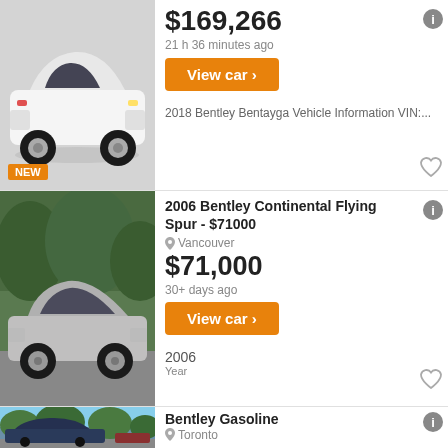[Figure (photo): White Bentley Bentayga SUV side view on white background, NEW badge in bottom left]
$169,266
21 h 36 minutes ago
View car >
2018 Bentley Bentayga Vehicle Information VIN:...
[Figure (photo): Silver Bentley Continental Flying Spur side view in outdoor setting with trees in background]
2006 Bentley Continental Flying Spur - $71000
Vancouver
$71,000
30+ days ago
View car >
2006
Year
[Figure (photo): Dark blue Bentley sedan in parking lot with trees in background]
Bentley Gasoline
Toronto
$35,000
18 days ago
View car >